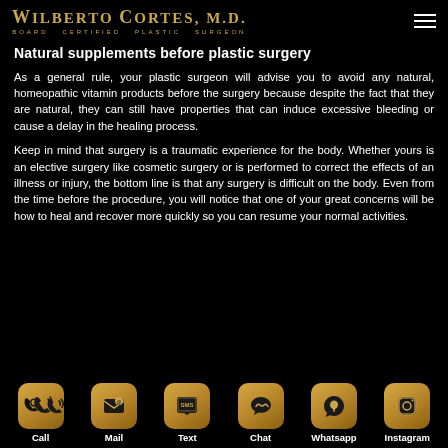Wilberto Cortes, M.D. — Board Certified Plastic Surgeon
Natural supplements before plastic surgery
As a general rule, your plastic surgeon will advise you to avoid any natural, homeopathic vitamin products before the surgery because despite the fact that they are natural, they can still have properties that can induce excessive bleeding or cause a delay in the healing process.
Keep in mind that surgery is a traumatic experience for the body. Whether yours is an elective surgery like cosmetic surgery or is performed to correct the effects of an illness or injury, the bottom line is that any surgery is difficult on the body. Even from the time before the procedure, you will notice that one of your great concerns will be how to heal and recover more quickly so you can resume your normal activities.
[Figure (infographic): Six golden icon buttons for contact: Call, Mail, Text, Chat, Whatsapp, Instagram]